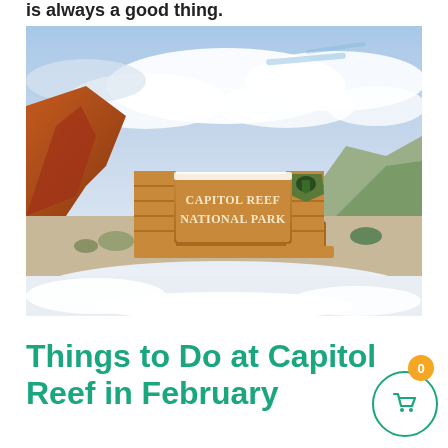is always a good thing.
[Figure (photo): Capitol Reef National Park entrance sign covered with snow, surrounded by red rock formations and cloudy sky in winter.]
Things to Do at Capitol Reef in February